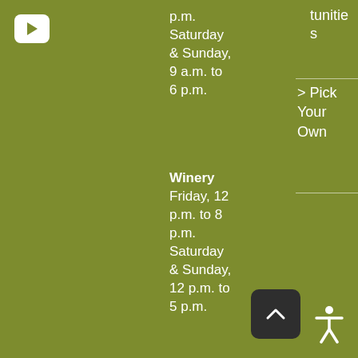[Figure (other): White play button icon on white rounded square background]
p.m. Saturday & Sunday, 9 a.m. to 6 p.m.
Winery Friday, 12 p.m. to 8 p.m. Saturday & Sunday, 12 p.m. to 5 p.m.
tunities
> Pick Your Own